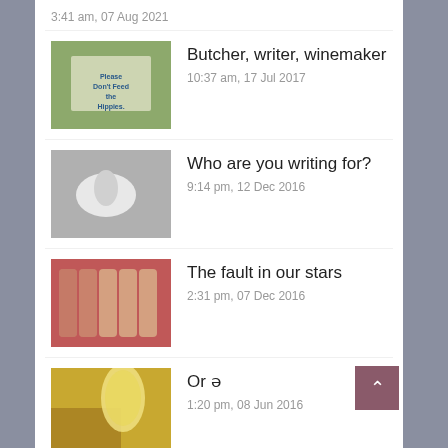3:41 am, 07 Aug 2021
Butcher, writer, winemaker
10:37 am, 17 Jul 2017
Who are you writing for?
9:14 pm, 12 Dec 2016
The fault in our stars
2:31 pm, 07 Dec 2016
Or ə
1:20 pm, 08 Jun 2016
Dirler prudence
1:54 pm, 24 May 2016